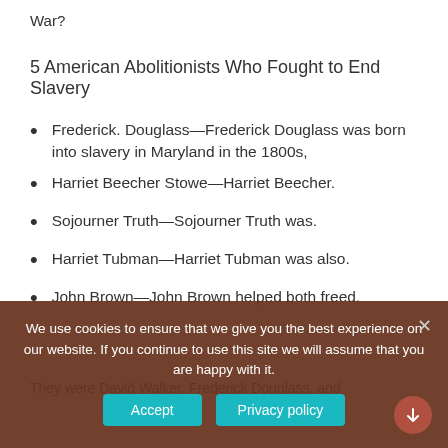War?
5 American Abolitionists Who Fought to End Slavery
Frederick. Douglass—Frederick Douglass was born into slavery in Maryland in the 1800s,
Harriet Beecher Stowe—Harriet Beecher.
Sojourner Truth—Sojourner Truth was.
Harriet Tubman—Harriet Tubman was also.
John Brown—John Brown helped both freed.
We use cookies to ensure that we give you the best experience on our website. If you continue to use this site we will assume that you are happy with it.
They were David Walker, Frederick Douglass, and